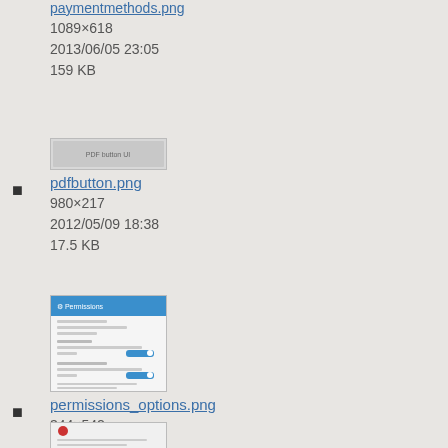paymentmethods.png
1089×618
2013/06/05 23:05
159 KB
[Figure (screenshot): Thumbnail of pdfbutton.png screenshot]
pdfbutton.png
980×217
2012/05/09 18:38
17.5 KB
[Figure (screenshot): Thumbnail of permissions_options.png screenshot showing a permissions UI with blue header and toggle switches]
permissions_options.png
344×542
2013/10/09 18:00
14.3 KB
[Figure (screenshot): Thumbnail of another screenshot at bottom of page]